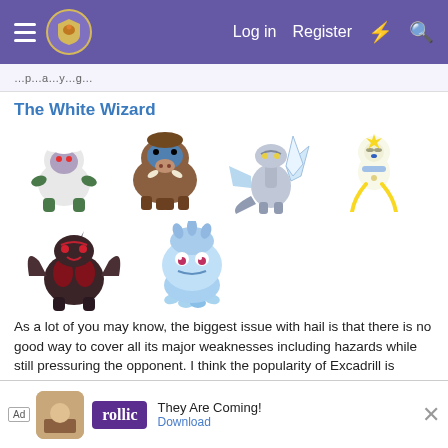Log in  Register
The White Wizard
[Figure (illustration): Six Pokemon sprites arranged in two rows: top row shows Abomasnow, Mamoswine, Kyurem (Black/White), and Jirachi; bottom row shows Tyranitar and Jellicent]
As a lot of you may know, the biggest issue with hail is that there is no good way to cover all its major weaknesses including hazards while still pressuring the opponent. I think the popularity of Excadrill is passively helping hail by making some hazards setters like Skarmory less prevalent. It is also an excellent addition ... without being as... pokemon...